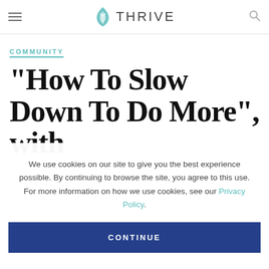THRIVE (navigation bar with hamburger menu and search icon)
COMMUNITY
“How To Slow Down To Do More”, with D... B...
We use cookies on our site to give you the best experience possible. By continuing to browse the site, you agree to this use. For more information on how we use cookies, see our Privacy Policy.
CONTINUE